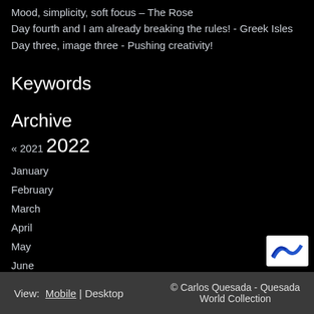Mood, simplicity, soft focus – The Rose
Day fourth and I am already breaking the rules! - Greek Isles
Day three, image three - Pushing creativity!
Keywords
Archive
« 2021 2022
January
February
March
April
May
June
July
August
View: Mobile | Desktop  © Carlos Quesada - Quesada World Collection